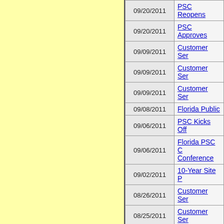| Date | Title |
| --- | --- |
| 09/20/2011 | PSC Reopens... |
| 09/20/2011 | PSC Approves... |
| 09/09/2011 | Customer Ser... |
| 09/09/2011 | Customer Ser... |
| 09/09/2011 | Customer Ser... |
| 09/08/2011 | Florida Public... |
| 09/06/2011 | PSC Kicks Off... |
| 09/06/2011 | Florida PSC C... Conference |
| 09/02/2011 | 10-Year Site P... |
| 08/26/2011 | Customer Ser... |
| 08/25/2011 | Customer Ser... |
| 08/23/2011 | PSC Directs F... Procedures |
| 08/23/2011 | PSC Finds Fu... Adequate |
| 08/19/2011 | Florida PSC C... Conference |
| 08/16/2011 | PSC Approves... |